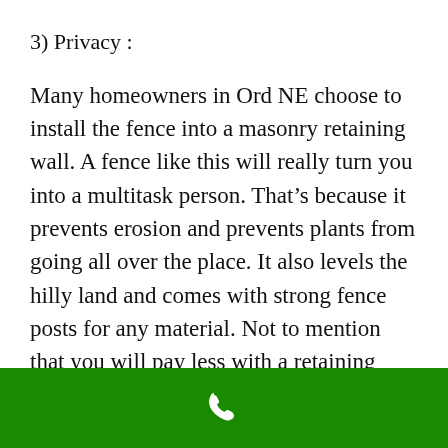3) Privacy :
Many homeowners in Ord NE choose to install the fence into a masonry retaining wall. A fence like this will really turn you into a multitask person. That’s because it prevents erosion and prevents plants from going all over the place. It also levels the hilly land and comes with strong fence posts for any material. Not to mention that you will pay less with a retaining wall. You
[Figure (other): Green footer bar with a white phone/call icon in the center]